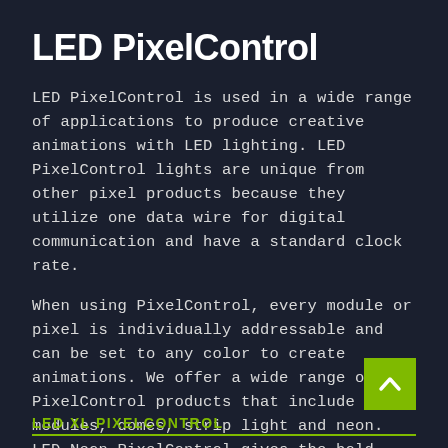LED PixelControl
LED PixelControl is used in a wide range of applications to produce creative animations with LED lighting. LED PixelControl lights are unique from other pixel products because they utilize one data wire for digital communication and have a standard clock rate.
When using PixelControl, every module or pixel is individually addressable and can be set to any color to create animations. We offer a wide range of LED PixelControl products that include LED modules, domes, strip light and neon. LED Neon PixelControl gives the bold look of neon with individual pixel control for creating dynamic effects.
LED XL PIXELCONTROL